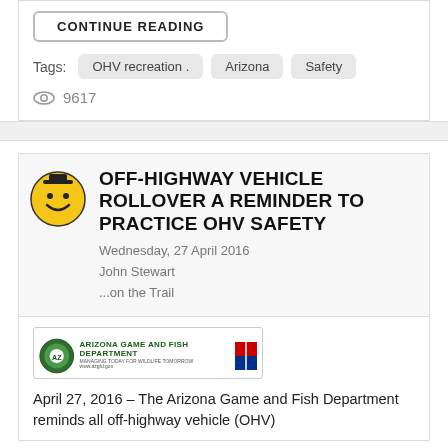CONTINUE READING
Tags: OHV recreation . Arizona Safety
9617
OFF-HIGHWAY VEHICLE ROLLOVER A REMINDER TO PRACTICE OHV SAFETY
Wednesday, 27 April 2016
John Stewart
...on the Trail
[Figure (logo): Arizona Game and Fish Department banner logo with smiley face icon]
April 27, 2016 – The Arizona Game and Fish Department reminds all off-highway vehicle (OHV)